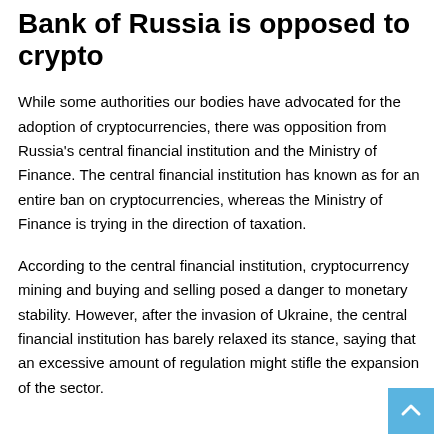Bank of Russia is opposed to crypto
While some authorities our bodies have advocated for the adoption of cryptocurrencies, there was opposition from Russia's central financial institution and the Ministry of Finance. The central financial institution has known as for an entire ban on cryptocurrencies, whereas the Ministry of Finance is trying in the direction of taxation.
According to the central financial institution, cryptocurrency mining and buying and selling posed a danger to monetary stability. However, after the invasion of Ukraine, the central financial institution has barely relaxed its stance, saying that an excessive amount of regulation might stifle the expansion of the sector.